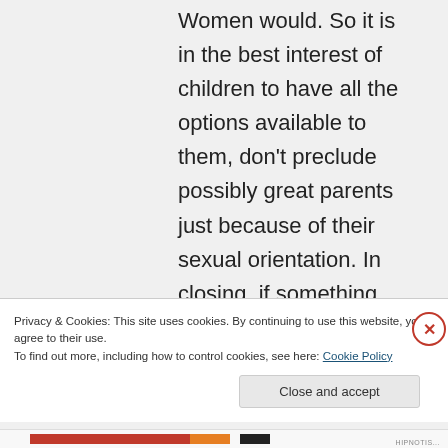Women would. So it is in the best interest of children to have all the options available to them, don't preclude possibly great parents just because of their sexual orientation. In closing, if something terrible should
Privacy & Cookies: This site uses cookies. By continuing to use this website, you agree to their use.
To find out more, including how to control cookies, see here: Cookie Policy
Close and accept